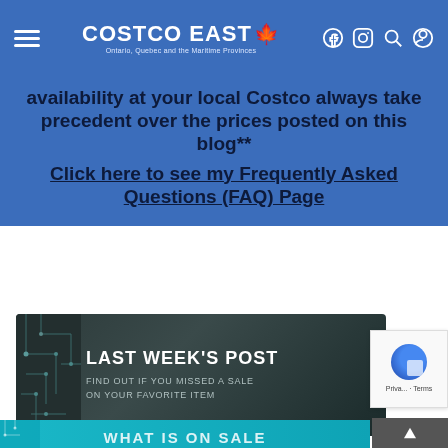COSTCO EAST — Ontario, Quebec and the Maritime Provinces
availability at your local Costco always take precedent over the prices posted on this blog** Click here to see my Frequently Asked Questions (FAQ) Page
[Figure (illustration): Dark tech/circuit-board themed banner with text LAST WEEK'S POST and subtitle FIND OUT IF YOU MISSED A SALE ON YOUR FAVORITE ITEM]
[Figure (illustration): Teal/cyan circuit-board themed banner with text WHAT IS ON SALE partially visible at bottom]